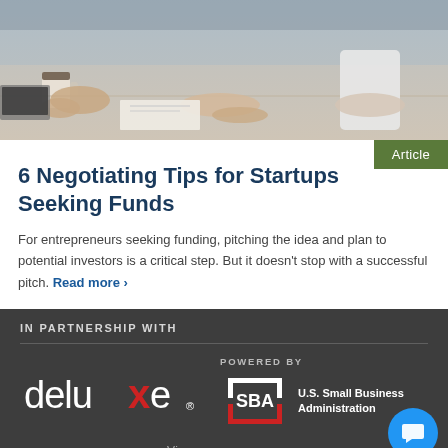[Figure (photo): People sitting around a table in a business meeting, hands visible, coffee cup, papers, and laptops on table.]
Article
6 Negotiating Tips for Startups Seeking Funds
For entrepreneurs seeking funding, pitching the idea and plan to potential investors is a critical step. But it doesn't stop with a successful pitch. Read more ›
IN PARTNERSHIP WITH
[Figure (logo): Deluxe logo in white text with red X on dark background]
POWERED BY
[Figure (logo): SBA - U.S. Small Business Administration logo in white on dark background]
View more sponsors